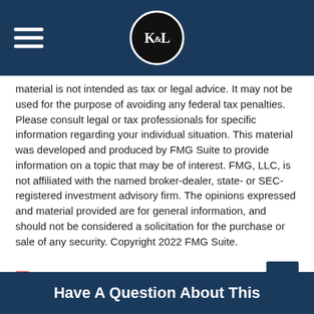K&L logo header with hamburger menu
material is not intended as tax or legal advice. It may not be used for the purpose of avoiding any federal tax penalties. Please consult legal or tax professionals for specific information regarding your individual situation. This material was developed and produced by FMG Suite to provide information on a topic that may be of interest. FMG, LLC, is not affiliated with the named broker-dealer, state- or SEC-registered investment advisory firm. The opinions expressed and material provided are for general information, and should not be considered a solicitation for the purchase or sale of any security. Copyright 2022 FMG Suite.
Share |
Have A Question About This